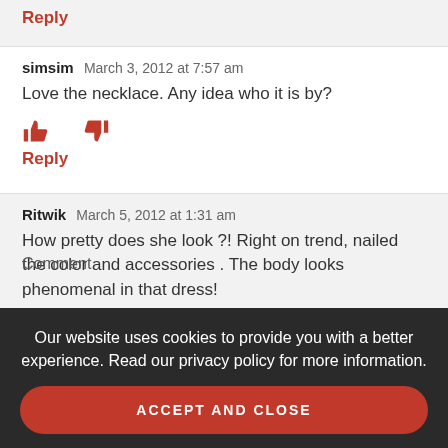Reply
simsim March 3, 2012 at 7:57 am
Love the necklace. Any idea who it is by?
Reply
Ritwik March 5, 2012 at 1:31 am
How pretty does she look ?! Right on trend, nailed the color and accessories . The body looks phenomenal in that dress!
Our website uses cookies to provide you with a better experience. Read our privacy policy for more information.
ACCEPT AND CLOSE
Comment